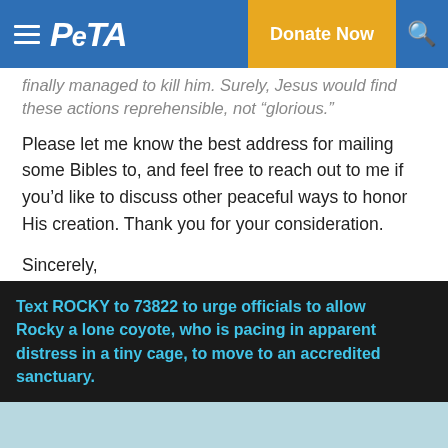PETA | Donate Now
finally managed to kill him. Surely, Jesus would find these actions reprehensible, not “glorious.”
Please let me know the best address for mailing some Bibles to, and feel free to reach out to me if you’d like to discuss other peaceful ways to honor His creation. Thank you for your consideration.
Sincerely,
Sarah Withrow King
Director of Christian Outreach and Engagement
Text ROCKY to 73822 to urge officials to allow Rocky a lone coyote, who is pacing in apparent distress in a tiny cage, to move to an accredited sanctuary.